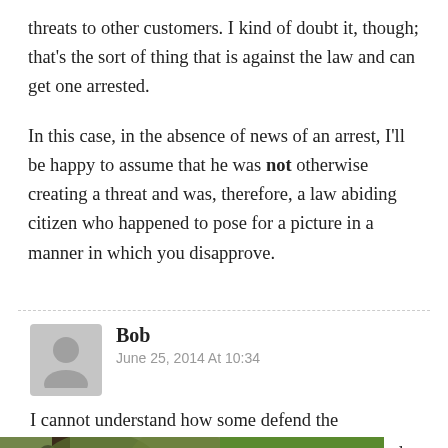threats to other customers. I kind of doubt it, though; that’s the sort of thing that is against the law and can get one arrested.
In this case, in the absence of news of an arrest, I’ll be happy to assume that he was not otherwise creating a threat and was, therefore, a law abiding citizen who happened to pose for a picture in a manner in which you disapprove.
Bob
June 25, 2014 At 10:34
I cannot understand how some defend the [image] d on the grip . If I was in s that’s a
[Figure (photo): A person in camouflage gear climbing or positioned in a tree in a forest setting.]
[Figure (logo): Veil Camo advertisement logo on green background with decorative leaf/plant emblem at top and text VEIL CAMO in large letters.]